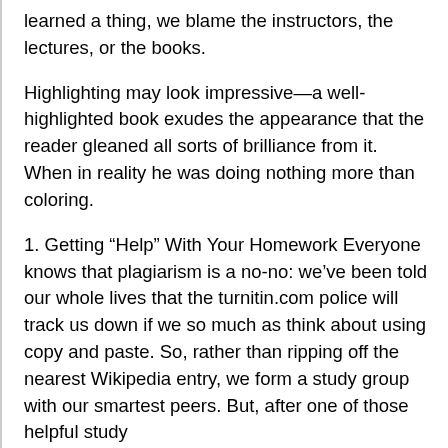learned a thing, we blame the instructors, the lectures, or the books.
Highlighting may look impressive—a well-highlighted book exudes the appearance that the reader gleaned all sorts of brilliance from it. When in reality he was doing nothing more than coloring.
1. Getting “Help” With Your Homework Everyone knows that plagiarism is a no-no: we’ve been told our whole lives that the turnitin.com police will track us down if we so much as think about using copy and paste. So, rather than ripping off the nearest Wikipedia entry, we form a study group with our smartest peers. But, after one of those helpful study